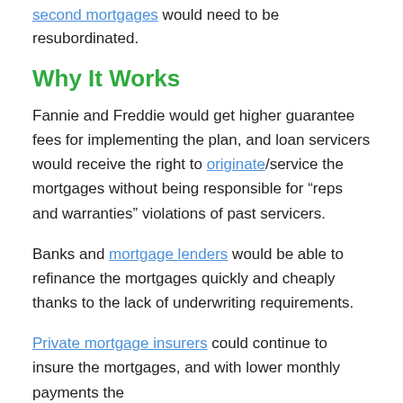second mortgages would need to be resubordinated.
Why It Works
Fannie and Freddie would get higher guarantee fees for implementing the plan, and loan servicers would receive the right to originate/service the mortgages without being responsible for “reps and warranties” violations of past servicers.
Banks and mortgage lenders would be able to refinance the mortgages quickly and cheaply thanks to the lack of underwriting requirements.
Private mortgage insurers could continue to insure the mortgages, and with lower monthly payments the